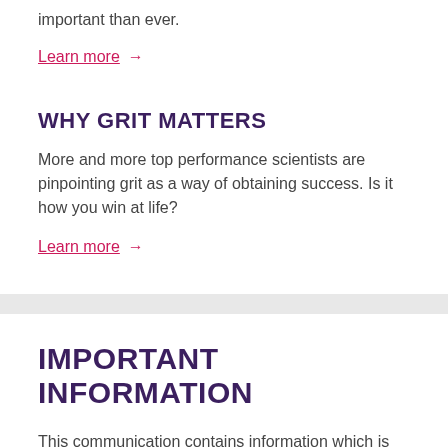important than ever.
Learn more →
WHY GRIT MATTERS
More and more top performance scientists are pinpointing grit as a way of obtaining success. Is it how you win at life?
Learn more →
IMPORTANT INFORMATION
This communication contains information which is copyright to The Hospitals Contribution Fund of Australia Limited (HCF). It should not be copied,